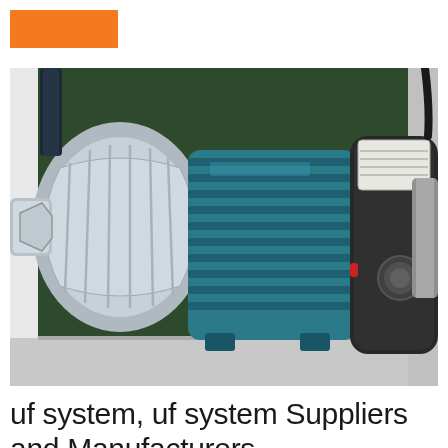[Figure (logo): Orange rectangle logo/banner in top left corner]
[Figure (photo): Photo of an industrial water pump with stainless steel impeller housing on the left (silver), a teal/blue electric motor body in the center, and a black motor housing on the right. The pump is sitting on a green background. A label/nameplate sticker is visible on the black motor top.]
uf system, uf system Suppliers and Manufacturers ...